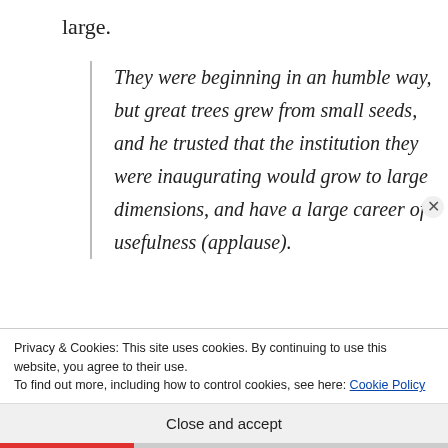large.
They were beginning in an humble way, but great trees grew from small seeds, and he trusted that the institution they were inaugurating would grow to large dimensions, and have a large career of usefulness (applause).
Privacy & Cookies: This site uses cookies. By continuing to use this website, you agree to their use.
To find out more, including how to control cookies, see here: Cookie Policy
Close and accept